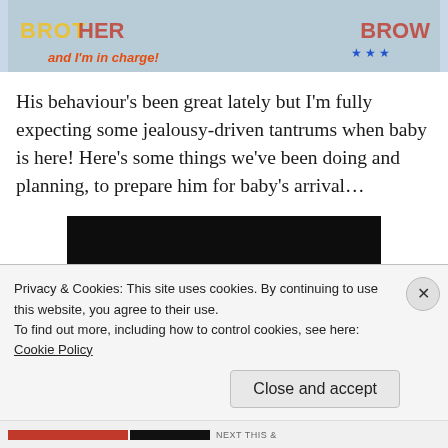[Figure (photo): Top portion of a photo showing children's clothing items with colorful text including 'and I'm in charge!' in red text and stars pattern visible]
His behaviour's been great lately but I'm fully expecting some jealousy-driven tantrums when baby is here! Here's some things we've been doing and planning, to prepare him for baby's arrival…
[Figure (photo): Dark/black image partially visible below text]
Privacy & Cookies: This site uses cookies. By continuing to use this website, you agree to their use.
To find out more, including how to control cookies, see here:
Cookie Policy
Close and accept